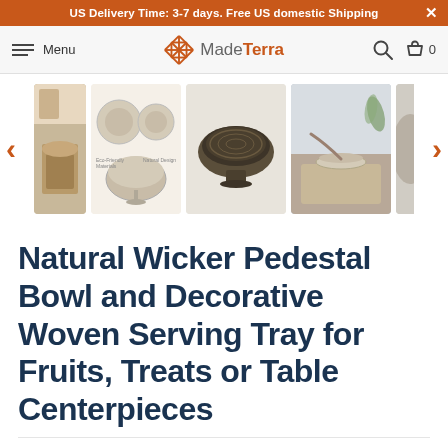US Delivery Time: 3-7 days. Free US domestic Shipping
[Figure (screenshot): MadeTerra website navigation bar with hamburger menu, MadeTerra logo, search icon, and cart icon showing 0 items]
[Figure (photo): Product image carousel showing 5 thumbnail images of a Natural Wicker Pedestal Bowl: lifestyle shot, detail/dimension views, dark wicker bowl from above, and lifestyle scenes with the bowl on a table]
Natural Wicker Pedestal Bowl and Decorative Woven Serving Tray for Fruits, Treats or Table Centerpieces